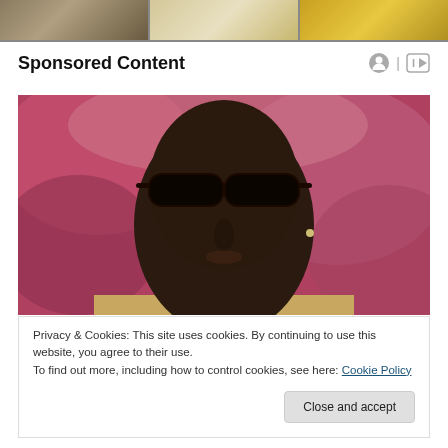[Figure (photo): Top strip showing three thumbnail images side by side]
Sponsored Content
[Figure (photo): Close-up photo of a man wearing dark sunglasses and a gold/beige top, with a blurred red and white background]
Privacy & Cookies: This site uses cookies. By continuing to use this website, you agree to their use.
To find out more, including how to control cookies, see here: Cookie Policy
Close and accept